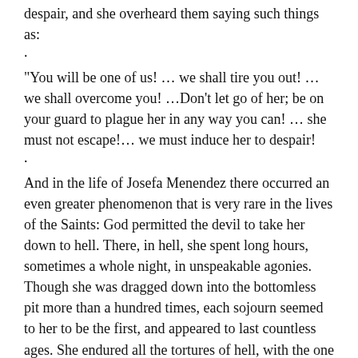and they understood they all means to drive her to despair, and she overheard them saying such things as:
.
“You will be one of us! … we shall tire you out! … we shall overcome you! …Don’t let go of her; be on your guard to plague her in any way you can! … she must not escape!… we must induce her to despair!
.
And in the life of Josefa Menendez there occurred an even greater phenomenon that is very rare in the lives of the Saints: God permitted the devil to take her down to hell. There, in hell, she spent long hours, sometimes a whole night, in unspeakable agonies. Though she was dragged down into the bottomless pit more than a hundred times, each sojourn seemed to her to be the first, and appeared to last countless ages. She endured all the tortures of hell, with the one exception: that of the hatred of God. For Josefa, the most painful of these torments was to hear the horrid confessions of the damned, the testimony of eternal hopelessness of the rest.